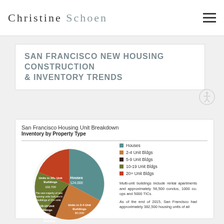Christine Schoen
SAN FRANCISCO NEW HOUSING CONSTRUCTION & INVENTORY TRENDS
[Figure (pie-chart): San Francisco Housing Unit Breakdown — Inventory by Property Type]
Multi-unit buildings include rental apartments and approximately 56,500 condos, 1000 co-ops and 5000 TICs.

As of the end of 2015, San Francisco had approximately 382,500 housing units of all